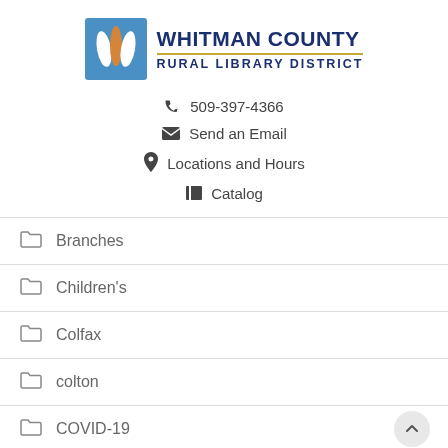[Figure (logo): Whitman County Rural Library District logo with stylized W in blue square with orange/white leaf shapes]
WHITMAN COUNTY RURAL LIBRARY DISTRICT
509-397-4366
Send an Email
Locations and Hours
Catalog
Branches
Children's
Colfax
colton
COVID-19
Digital Library